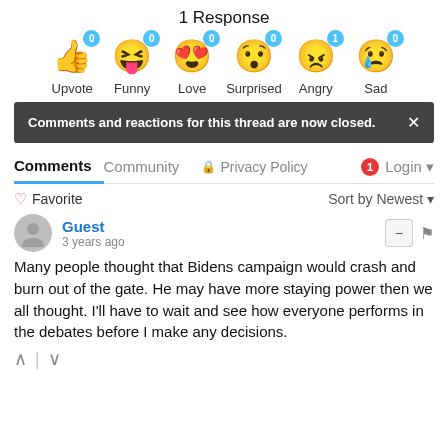1 Response
[Figure (infographic): Six emoji reaction buttons with counts: Upvote (0), Funny (0), Love (0), Surprised (0), Angry (1), Sad (0)]
Comments and reactions for this thread are now closed.
Comments  Community  Privacy Policy  Login
Favorite   Sort by Newest
Guest
3 years ago
Many people thought that Bidens campaign would crash and burn out of the gate. He may have more staying power then we all thought. I'll have to wait and see how everyone performs in the debates before I make any decisions.